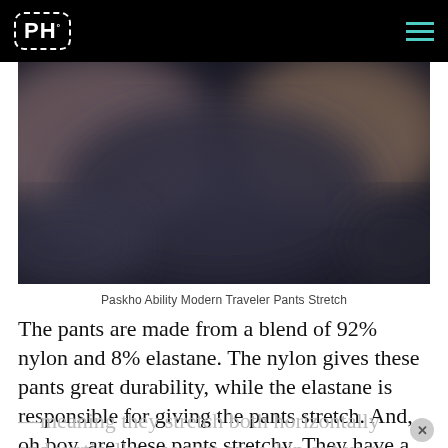PH° [logo] with hamburger menu
[Figure (photo): Blurred photo of a person wearing dark pants, showing stretch/fabric detail. Muted tones of black, grey, and skin color.]
Paskho Ability Modern Traveler Pants Stretch
The pants are made from a blend of 92% nylon and 8% elastane. The nylon gives these pants great durability, while the elastane is responsible for giving the pants stretch. And, oh boy, are these pants stretchy. They have a 4-way stretch
—meaning they stretch both horizontally and vertically—so you can whip out yoga poses, dance moves, or climb to the